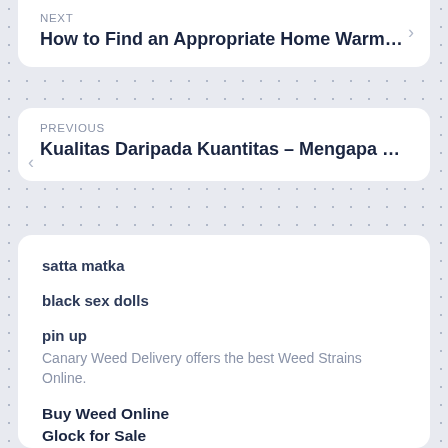NEXT
How to Find an Appropriate Home Warm…
PREVIOUS
Kualitas Daripada Kuantitas – Mengapa …
satta matka
black sex dolls
pin up
Canary Weed Delivery offers the best Weed Strains Online.
Buy Weed Online
Glock for Sale
Weed Strains
The best place to Buy Weed Online . Weed for sale now available for home delivery